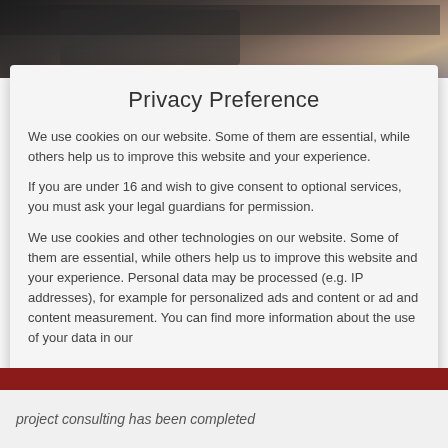[Figure (photo): Dark background photo showing laptop keyboard and hands, partially visible behind the modal dialog]
Privacy Preference
We use cookies on our website. Some of them are essential, while others help us to improve this website and your experience.
If you are under 16 and wish to give consent to optional services, you must ask your legal guardians for permission.
We use cookies and other technologies on our website. Some of them are essential, while others help us to improve this website and your experience. Personal data may be processed (e.g. IP addresses), for example for personalized ads and content or ad and content measurement. You can find more information about the use of your data in our
✓ Essenziell
☐ Marketing
☐ Externe Medien
project consulting has been completed